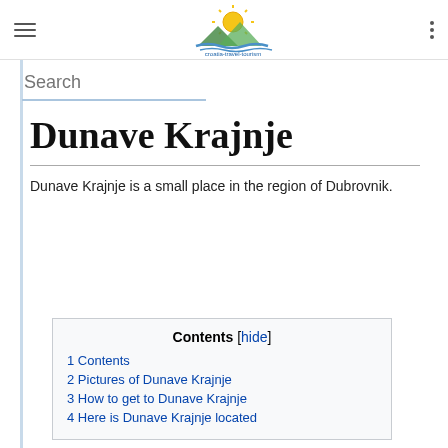Navigation header with hamburger menu, Croatia Travel logo, and dots menu
Search
Dunave Krajnje
Dunave Krajnje is a small place in the region of Dubrovnik.
Contents [hide]
1 Contents
2 Pictures of Dunave Krajnje
3 How to get to Dunave Krajnje
4 Here is Dunave Krajnje located